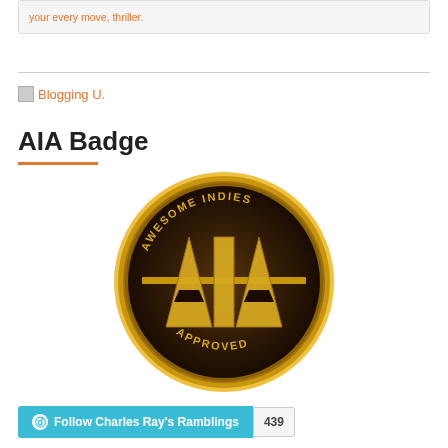your every move, thriller.
[Figure (illustration): Broken image placeholder labeled 'Blogging U.']
AIA Badge
[Figure (logo): AIA Badge — a circular gold coin-style badge with 'AWESOME INDIES' text around the top arc, 'APPROVED' around the bottom arc, and large gold letters 'AIA' in the center on a dark textured background.]
Follow Charles Ray's Ramblings  439